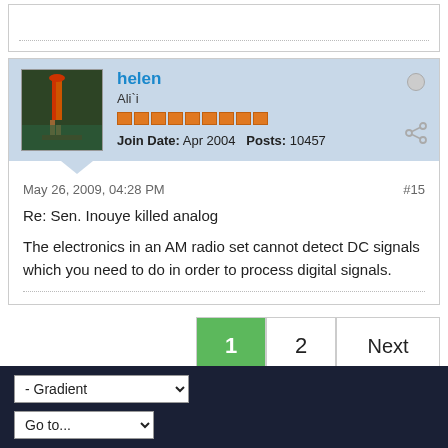helen
Ali`i
Join Date: Apr 2004  Posts: 10457
May 26, 2009, 04:28 PM
#15
Re: Sen. Inouye killed analog
The electronics in an AM radio set cannot detect DC signals which you need to do in order to process digital signals.
1  2  Next
- Gradient
Go to...